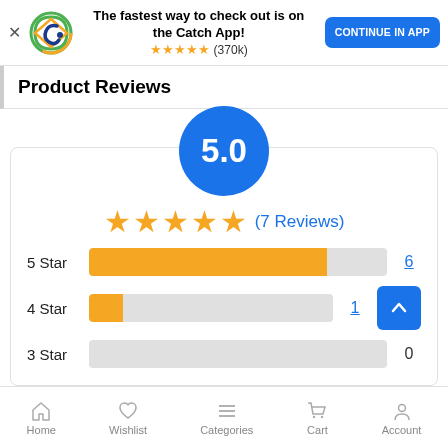[Figure (screenshot): App banner with Catch logo, text 'The fastest way to check out is on the Catch App!', 5-star rating (370k), and 'CONTINUE IN APP' button]
Product Reviews
[Figure (infographic): Rating overview: 5.0 score in blue circle, 5 gold stars, (7 Reviews), bar chart showing 5 Star=6, 4 Star=1, 3 Star=0]
Home   Wishlist   Categories   Cart   Account